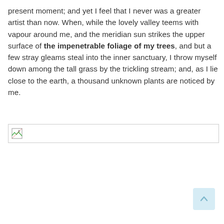present moment; and yet I feel that I never was a greater artist than now. When, while the lovely valley teems with vapour around me, and the meridian sun strikes the upper surface of the impenetrable foliage of my trees, and but a few stray gleams steal into the inner sanctuary, I throw myself down among the tall grass by the trickling stream; and, as I lie close to the earth, a thousand unknown plants are noticed by me.
[Figure (other): Broken image placeholder icon with border]